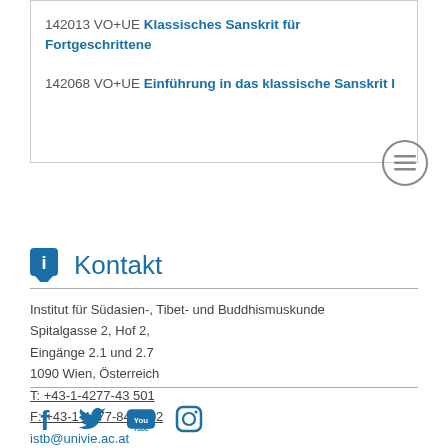142013 VO+UE Klassisches Sanskrit für Fortgeschrittene
142068 VO+UE Einführung in das klassische Sanskrit I
Kontakt
Institut für Südasien-, Tibet- und Buddhismuskunde
Spitalgasse 2, Hof 2,
Eingänge 2.1 und 2.7
1090 Wien, Österreich
T: +43-1-4277-43 501
F: +43-1-4277-843 502
istb@univie.ac.at